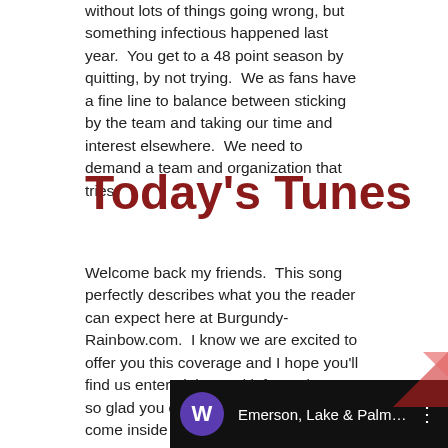without lots of things going wrong, but something infectious happened last year.  You get to a 48 point season by quitting, by not trying.  We as fans have a fine line to balance between sticking by the team and taking our time and interest elsewhere.  We need to demand a team and organization that tries.
Today's Tunes
Welcome back my friends.  This song perfectly describes what you the reader can expect here at Burgundy-Rainbow.com.  I know we are excited to offer you this coverage and I hope you'll find us entertaining and informative.  I'm so glad you came along, come inside, come inside the show is about to start.
[Figure (screenshot): Video player bar showing a purple W avatar icon, title 'Emerson, Lake & Palmer - Karn...' in white text on black background, with a vertical dots menu icon on the right.]